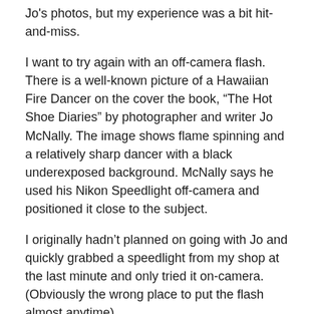Jo's photos, but my experience was a bit hit-and-miss.
I want to try again with an off-camera flash. There is a well-known picture of a Hawaiian Fire Dancer on the cover the book, “The Hot Shoe Diaries” by photographer and writer Jo McNally. The image shows flame spinning and a relatively sharp dancer with a black underexposed background. McNally says he used his Nikon Speedlight off-camera and positioned it close to the subject.
I originally hadn’t planned on going with Jo and quickly grabbed a speedlight from my shop at the last minute and only tried it on-camera. (Obviously the wrong place to put the flash almost anytime)
I also now know that I should have used a faster shutterspeed. My slow shutter time would work great for